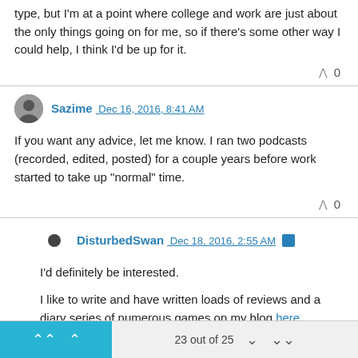type, but I'm at a point where college and work are just about the only things going on for me, so if there's some other way I could help, I think I'd be up for it.
^ 0
Sazime Dec 16, 2016, 8:41 AM
If you want any advice, let me know. I ran two podcasts (recorded, edited, posted) for a couple years before work started to take up "normal" time.
^ 0
DisturbedSwan Dec 18, 2016, 2:55 AM
I'd definitely be interested.

I like to write and have written loads of reviews and a diary series of numerous games on my blog here.

I've also been on 2 Podcasts, 1 episode of VideoGamer UK's podcast
23 out of 25